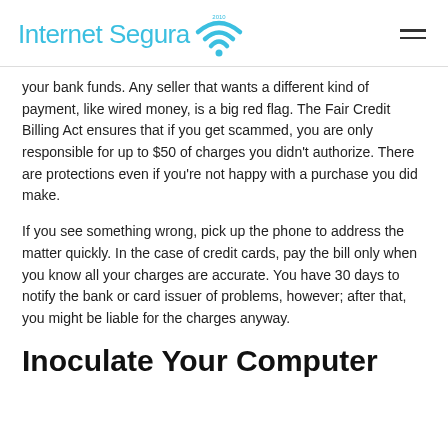Internet Segura
your bank funds. Any seller that wants a different kind of payment, like wired money, is a big red flag. The Fair Credit Billing Act ensures that if you get scammed, you are only responsible for up to $50 of charges you didn't authorize. There are protections even if you're not happy with a purchase you did make.
If you see something wrong, pick up the phone to address the matter quickly. In the case of credit cards, pay the bill only when you know all your charges are accurate. You have 30 days to notify the bank or card issuer of problems, however; after that, you might be liable for the charges anyway.
Inoculate Your Computer